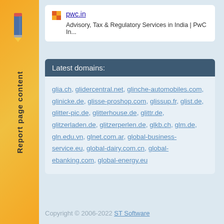[Figure (screenshot): Left sidebar with orange gradient background, pencil icon, and vertical text 'Report page content']
pwc.in
Advisory, Tax & Regulatory Services in India | PwC In...
Latest domains:
glia.ch, glidercentral.net, glinche-automobiles.com, glinicke.de, glisse-proshop.com, glissup.fr, glist.de, glitter-pic.de, glitterhouse.de, glittr.de, glitzerladen.de, glitzerperlen.de, glkb.ch, glm.de, gln.edu.vn, glnet.com.ar, global-business-service.eu, global-dairy.com.cn, global-ebanking.com, global-energy.eu
Copyright © 2006-2022 ST Software